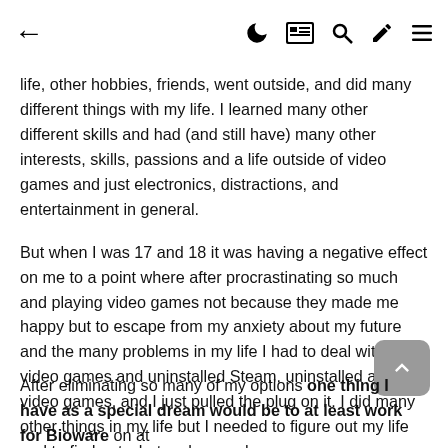← 🌙 📋 🔍 ✏️ ≡
life, other hobbies, friends, went outside, and did many different things with my life. I learned many other different skills and had (and still have) many other interests, skills, passions and a life outside of video games and just electronics, distractions, and entertainment in general.
But when I was 17 and 18 it was having a negative effect on me to a point where after procrastinating so much and playing video games not because they made me happy but to escape from my anxiety about my future and the many problems in my life I had to deal with I quit video games and uninstalled Steam, uninstalled all of my video games, and I just pulled the plug on it. I did many other things in my life but I needed to figure out my life and to find out what makes me happy.
After eliminating so many of my options one thing I have as a special dream would be to at least work for Bioware on at